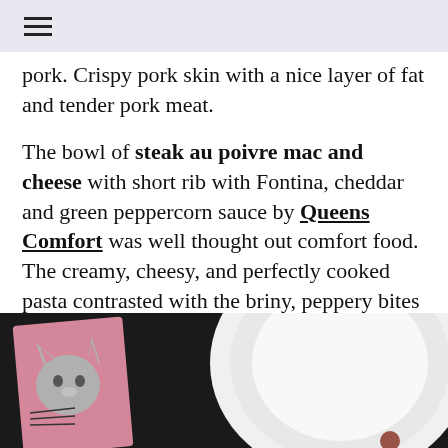≡
pork. Crispy pork skin with a nice layer of fat and tender pork meat.
The bowl of steak au poivre mac and cheese with short rib with Fontina, cheddar and green peppercorn sauce by Queens Comfort was well thought out comfort food. The creamy, cheesy, and perfectly cooked pasta contrasted with the briny, peppery bites from the green peppercorns made it interesting and not too heavy.
[Figure (photo): A photo showing a pink card with a cat illustration and a white plate on a dark background]